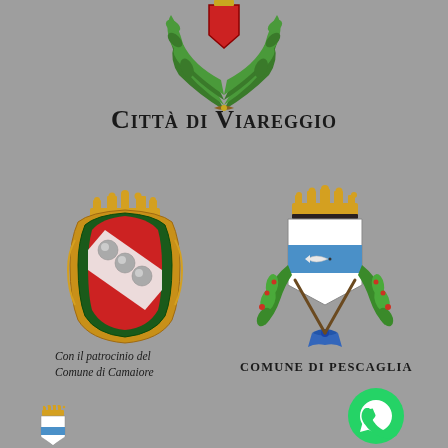[Figure (logo): Coat of arms of Città di Viareggio with laurel wreath and red shield at top]
Città di Viareggio
[Figure (logo): Coat of arms of Comune di Camaiore - ornate golden frame with red shield and diagonal band with three spheres, golden crown on top]
[Figure (logo): Coat of arms of Comune di Pescaglia - shield with blue stripe and fish, green laurel branches, golden crown on top]
Con il patrocinio del Comune di Camaiore
COMUNE DI PESCAGLIA
[Figure (logo): WhatsApp green icon]
[Figure (logo): Small coat of arms at bottom left]